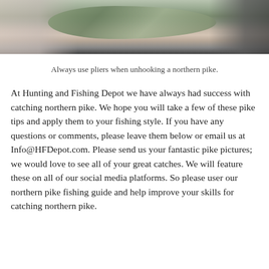[Figure (photo): Person holding a northern pike fish, with hands visible gripping the fish from both sides against a dark background]
Always use pliers when unhooking a northern pike.
At Hunting and Fishing Depot we have always had success with catching northern pike. We hope you will take a few of these pike tips and apply them to your fishing style. If you have any questions or comments, please leave them below or email us at Info@HFDepot.com. Please send us your fantastic pike pictures; we would love to see all of your great catches. We will feature these on all of our social media platforms. So please user our northern pike fishing guide and help improve your skills for catching northern pike.